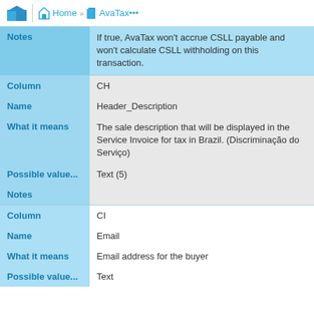Home >> AvaTax...
| Field | Value |
| --- | --- |
| Notes | If true, AvaTax won't accrue CSLL payable and won't calculate CSLL withholding on this transaction. |
| Column | CH |
| Name | Header_Description |
| What it means | The sale description that will be displayed in the Service Invoice for tax in Brazil. (Discriminação do Serviço) |
| Possible value... | Text (5) |
| Notes |  |
| Column | CI |
| Name | Email |
| What it means | Email address for the buyer |
| Possible value... | Text |